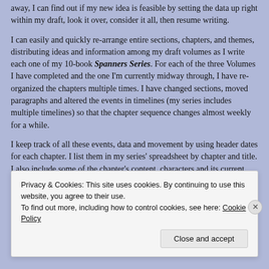away, I can find out if my new idea is feasible by setting the data up right within my draft, look it over, consider it all, then resume writing.
I can easily and quickly re-arrange entire sections, chapters, and themes, distributing ideas and information among my draft volumes as I write each one of my 10-book Spanners Series. For each of the three Volumes I have completed and the one I'm currently midway through, I have re-organized the chapters multiple times. I have changed sections, moved paragraphs and altered the events in timelines (my series includes multiple timelines) so that the chapter sequence changes almost weekly for a while.
I keep track of all these events, data and movement by using header dates for each chapter. I list them in my series' spreadsheet by chapter and title. I also include some of the chapter's content, characters and its current Volume number in the cell.
Privacy & Cookies: This site uses cookies. By continuing to use this website, you agree to their use.
To find out more, including how to control cookies, see here: Cookie Policy